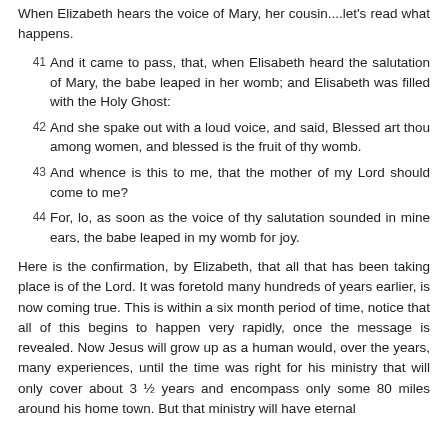When Elizabeth hears the voice of Mary, her cousin....let's read what happens.
41  And it came to pass, that, when Elisabeth heard the salutation of Mary, the babe leaped in her womb; and Elisabeth was filled with the Holy Ghost:
42  And she spake out with a loud voice, and said, Blessed art thou among women, and blessed is the fruit of thy womb.
43  And whence is this to me, that the mother of my Lord should come to me?
44  For, lo, as soon as the voice of thy salutation sounded in mine ears, the babe leaped in my womb for joy.
Here is the confirmation, by Elizabeth, that all that has been taking place is of the Lord. It was foretold many hundreds of years earlier, is now coming true. This is within a six month period of time, notice that all of this begins to happen very rapidly, once the message is revealed. Now Jesus will grow up as a human would, over the years, many experiences, until the time was right for his ministry that will only cover about 3 ½ years and encompass only some 80 miles around his home town. But that ministry will have eternal